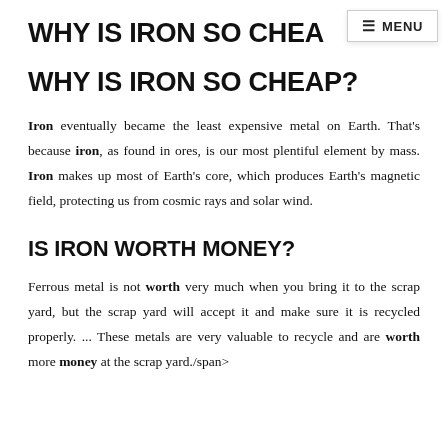WHY IS IRON SO CHEAP?
Iron eventually became the least expensive metal on Earth. That's because iron, as found in ores, is our most plentiful element by mass. Iron makes up most of Earth's core, which produces Earth's magnetic field, protecting us from cosmic rays and solar wind.
IS IRON WORTH MONEY?
Ferrous metal is not worth very much when you bring it to the scrap yard, but the scrap yard will accept it and make sure it is recycled properly. ... These metals are very valuable to recycle and are worth more money at the scrap yard./span>